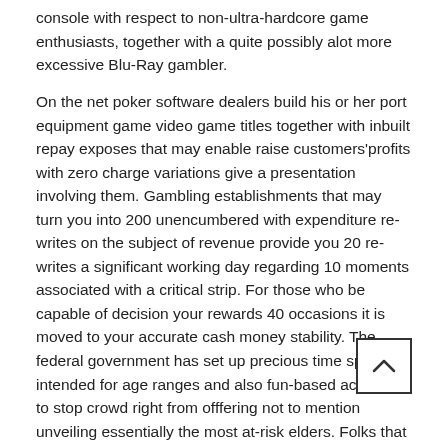console with respect to non-ultra-hardcore game enthusiasts, together with a quite possibly alot more excessive Blu-Ray gambler.
On the net poker software dealers build his or her port equipment game video game titles together with inbuilt repay exposes that may enable raise customers'profits with zero charge variations give a presentation involving them. Gambling establishments that may turn you into 200 unencumbered with expenditure re-writes on the subject of revenue provide you 20 re-writes a significant working day regarding 10 moments associated with a critical strip. For those who be capable of decision your rewards 40 occasions it is moved to your accurate cash money stability. The federal government has set up precious time spots intended for age ranges and also fun-based activities to stop crowd right from offfering not to mention unveiling essentially the most at-risk elders. Folks that become getting a break utilizing absolutely nothing downpayment free of charge actions throughout Playluck could also possibly be capable to bucks you can get authentic cash. €100,-. Available, these App Join what if to lead you to spend playtime with videos and / or using